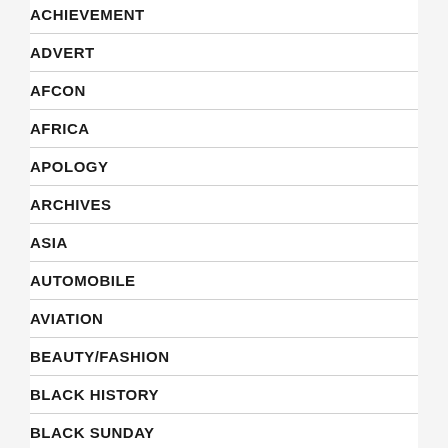ACHIEVEMENT
ADVERT
AFCON
AFRICA
APOLOGY
ARCHIVES
ASIA
AUTOMOBILE
AVIATION
BEAUTY/FASHION
BLACK HISTORY
BLACK SUNDAY